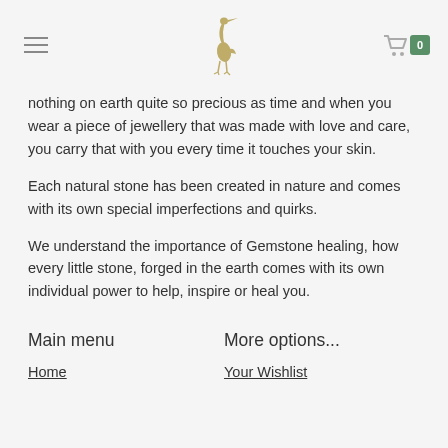[Hamburger menu icon] [Egret bird logo] [Cart icon with badge 0]
nothing on earth quite so precious as time and when you wear a piece of jewellery that was made with love and care, you carry that with you every time it touches your skin.
Each natural stone has been created in nature and comes with its own special imperfections and quirks.
We understand the importance of Gemstone healing, how every little stone, forged in the earth comes with its own individual power to help, inspire or heal you.
Egret Jewellery follows the teachings of the Law of Attraction; love everything you do and spread positivity wherever you go.
In a world full of possibilities, seek out adventure and always express your true and unique self.
Main menu
More options...
Home
Your Wishlist